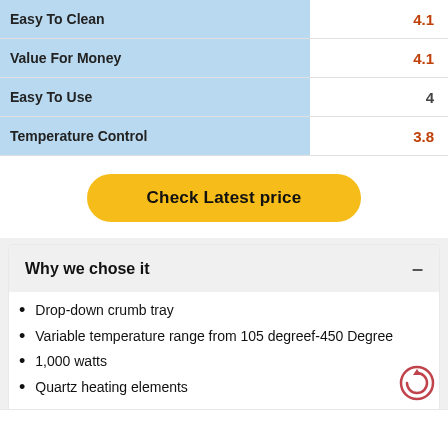| Category | Score |
| --- | --- |
| Easy To Clean | 4.1 |
| Value For Money | 4.1 |
| Easy To Use | 4 |
| Temperature Control | 3.8 |
Check Latest price
Why we chose it
Drop-down crumb tray
Variable temperature range from 105 degreef-450 Degree
1,000 watts
Quartz heating elements